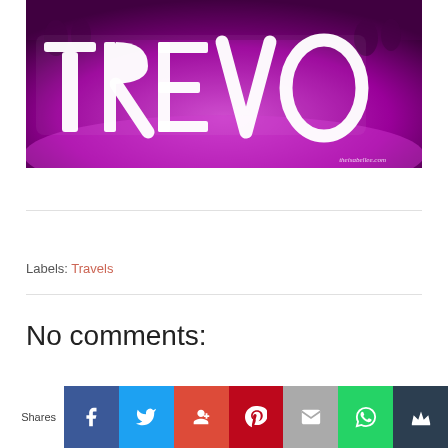[Figure (photo): Indoor event photo showing large illuminated white 3D letters spelling TREVO against a purple/magenta lit background with people visible in the background. Watermark reads theisabellee.com]
Labels: Travels
No comments:
Shares [social share buttons: Facebook, Twitter, Google+, Pinterest, Email, WhatsApp, Crown/other]